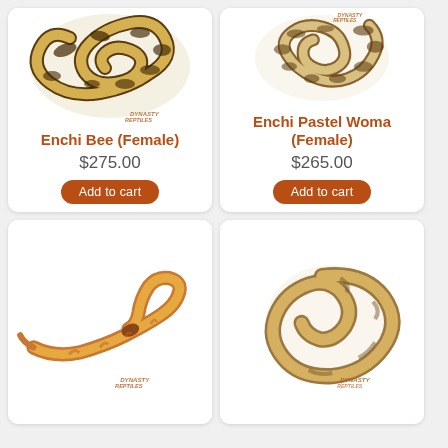[Figure (photo): Ball python snake coiled, yellowish-tan with dark brown pattern markings, white background, Dynasty Reptiles watermark]
Enchi Bee (Female)
$275.00
Add to cart
[Figure (photo): Ball python snake coiled, light tan/beige with dark brown pattern markings, white background, Dynasty Reptiles watermark]
Enchi Pastel Woma (Female)
$265.00
Add to cart
[Figure (photo): Ball python snake stretched out, golden-yellow/orange coloring with light pattern, white background, Dynasty Reptiles watermark]
[Figure (photo): Ball python snake coiled tightly, tan/beige with subtle lighter pattern, white background, Dynasty Reptiles watermark]